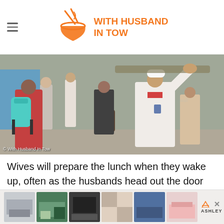WITH HUSBAND IN TOW
[Figure (photo): Street scene showing a man in white clothes and a white cap carrying a large tray overhead, surrounded by people with backpacks walking on a street. Photo credit: © With Husband In Tow]
Wives will prepare the lunch when they wake up, often as the husbands head out the door for the morning commute. Once the lunch is ready, it is placed in a tiffin box, a shiny, round metal container, with 4 or 5 levels. Each level contains a
[Figure (infographic): Advertisement banner with thumbnail images of furniture/home decor items and Ashley Furniture logo]